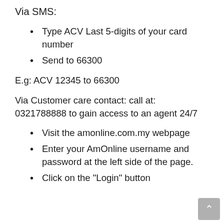Via SMS:
Type ACV Last 5-digits of your card number
Send to 66300
E.g: ACV 12345 to 66300
Via Customer care contact: call at: 0321788888 to gain access to an agent 24/7
Visit the amonline.com.my webpage
Enter your AmOnline username and password at the left side of the page.
Click on the "Login" button